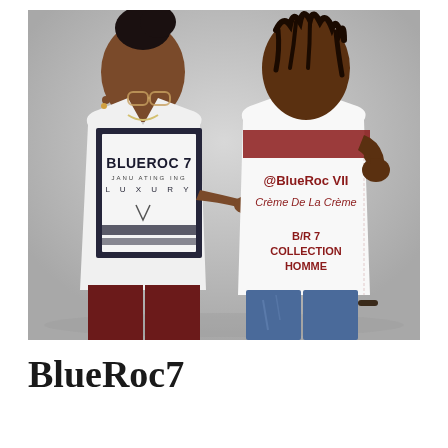[Figure (photo): Two people wearing BlueRoc7 branded t-shirts. Person on left wearing a white t-shirt with a dark graphic panel printed with 'BLUEROC 7' and 'LUXURY' text, pointing at the shirt. Person on right wearing a white t-shirt with a dark red/maroon stripe, printed with '@BlueRoc VII', 'Crème De La Crème', and 'B/R 7 COLLECTION HOMME'. Both against a grey studio background.]
BlueRoc7